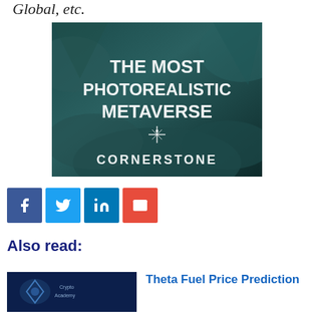Global, etc.
[Figure (illustration): Dark teal/blue rocky cave background with white bold text reading 'THE MOST PHOTOREALISTIC METAVERSE' and a compass/star icon below it, with 'CORNERSTONE' text at the bottom]
[Figure (infographic): Four social share buttons: Facebook (dark blue), Twitter (light blue), LinkedIn (medium blue), Email (red), each with white icons]
Also read:
[Figure (photo): Thumbnail image with blue background and crypto/blockchain related imagery]
Theta Fuel Price Prediction